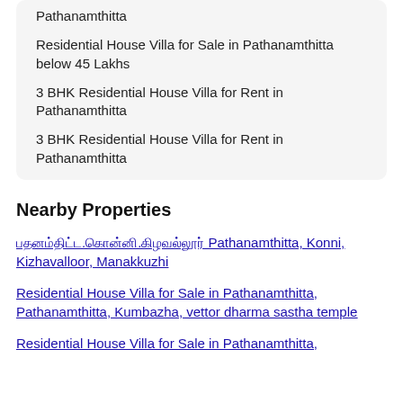Pathanamthitta
Residential House Villa for Sale in Pathanamthitta below 45 Lakhs
3 BHK Residential House Villa for Rent in Pathanamthitta
3 BHK Residential House Villa for Rent in Pathanamthitta
Nearby Properties
പതനംതിട്ട.കൊന്നി.കിഴവല്ലൂർ Pathanamthitta, Konni, Kizhavalloor, Manakkuzhi
Residential House Villa for Sale in Pathanamthitta, Pathanamthitta, Kumbazha, vettor dharma sastha temple
Residential House Villa for Sale in Pathanamthitta,